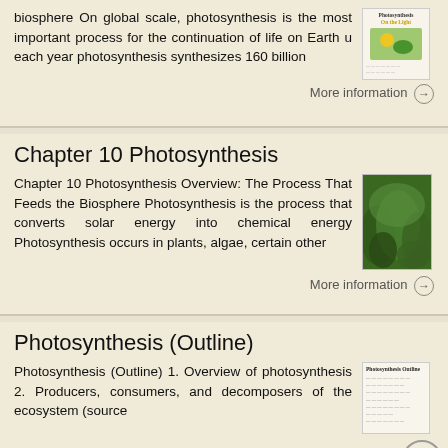biosphere On global scale, photosynthesis is the most important process for the continuation of life on Earth u each year photosynthesis synthesizes 160 billion
[Figure (illustration): Thumbnail image for photosynthesis topic showing a small illustrated card with title text and a sun/leaf graphic]
More information →
Chapter 10 Photosynthesis
Chapter 10 Photosynthesis Overview: The Process That Feeds the Biosphere Photosynthesis is the process that converts solar energy into chemical energy Photosynthesis occurs in plants, algae, certain other
[Figure (photo): Photo thumbnail of green forest/fern leaves for Chapter 10 Photosynthesis]
More information →
Photosynthesis (Outline)
Photosynthesis (Outline) 1. Overview of photosynthesis 2. Producers, consumers, and decomposers of the ecosystem (source
[Figure (screenshot): Thumbnail of Photosynthesis Outline document showing text lines]